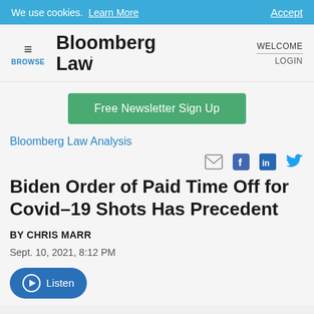We use cookies. Learn More  Accept
[Figure (logo): Bloomberg Law logo with hamburger menu and BROWSE label on left, WELCOME and LOGIN on right]
Free Newsletter Sign Up
Bloomberg Law Analysis
Biden Order of Paid Time Off for Covid–19 Shots Has Precedent
BY CHRIS MARR
Sept. 10, 2021, 8:12 PM
Listen